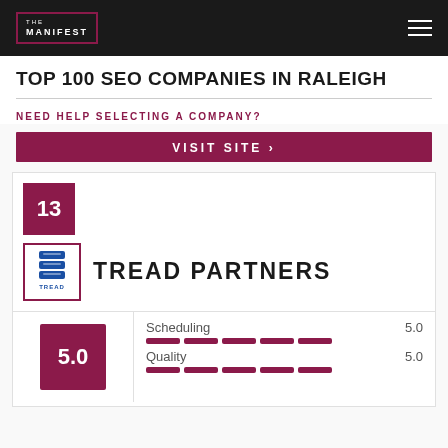THE MANIFEST
TOP 100 SEO COMPANIES IN RALEIGH
NEED HELP SELECTING A COMPANY?
VISIT SITE
13
[Figure (logo): Tread Partners company logo — stacked blue gear/tread icon with TREAD text below]
TREAD PARTNERS
5.0
Scheduling 5.0
Quality 5.0